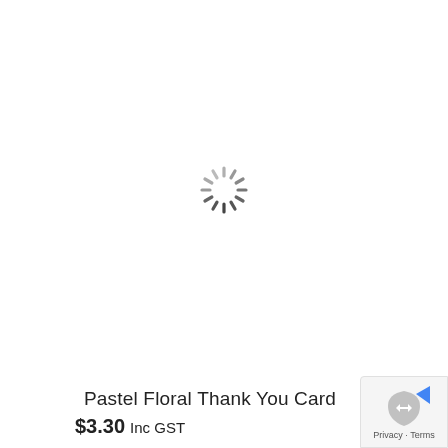[Figure (other): Loading spinner icon shown in the center of the page, a circular arrangement of short dashes in light gray radiating from the center like clock hands, indicating content is loading.]
Pastel Floral Thank You Card
$3.30 Inc GST
[Figure (logo): reCAPTCHA privacy badge in the bottom right corner showing a blue and gray shield/recycling-style logo with the text 'Privacy · Terms']